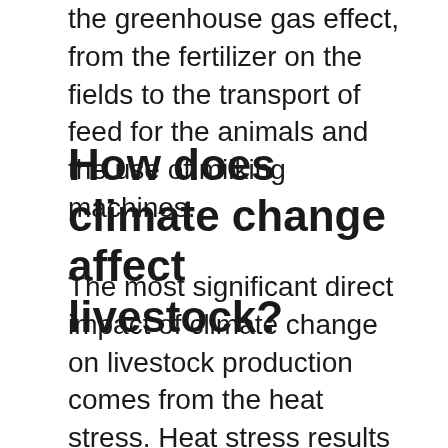the greenhouse gas effect, from the fertilizer on the fields to the transport of feed for the animals and the use of milking machines.
How does climate change affect livestock?
The most significant direct impact of climate change on livestock production comes from the heat stress. Heat stress results in a significant financial burden to livestock producers through decrease in milk component and milk production, meat production, reproductive efficiency and animal health.
How does climate change affect the production of